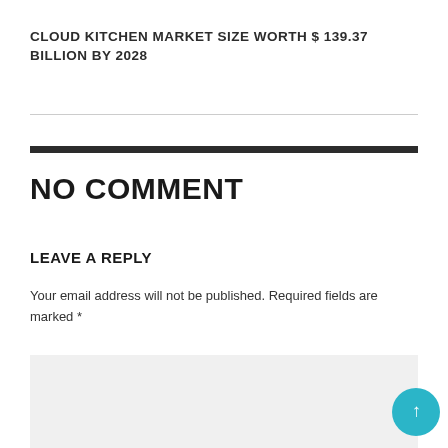CLOUD KITCHEN MARKET SIZE WORTH $ 139.37 BILLION BY 2028
NO COMMENT
LEAVE A REPLY
Your email address will not be published. Required fields are marked *